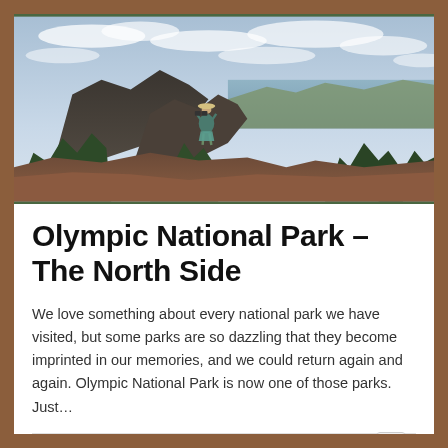[Figure (photo): A hiker standing on a rocky mountain ridge with binoculars, overlooking a vast landscape with a bay or strait in the background, surrounded by evergreen trees and rugged peaks under a cloudy sky. Olympic National Park scenery.]
Olympic National Park – The North Side
We love something about every national park we have visited, but some parks are so dazzling that they become imprinted in our memories, and we could return again and again. Olympic National Park is now one of those parks. Just…
Christina   February 13, 2017   Our Travels   No Comments